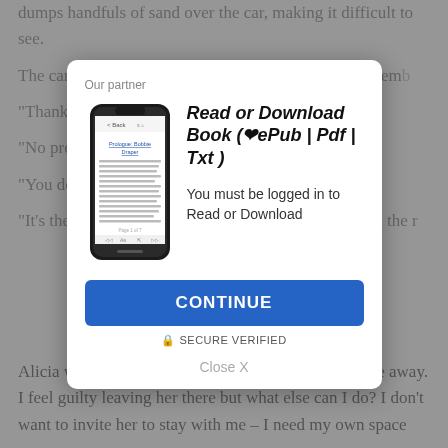dumps handfuls of sand over the car, making it difficult to see.
The caravan park is even more dilapidated than I remember.
“Thanks
“No pro… on’s in the mor…
“You do…
“It’s the… e in the boarded… ention all the r… s she walks u… There is no one… ave for the shri… nd it a bit eerie…
Alicia watches me from her broken window as I drive away. I feel guilty leaving her there but what else can I do? I don’t want to invite her to stay with me – I need my own space
[Figure (screenshot): A modal popup dialog overlaying the page content. It shows 'Our partner' at the top left, a smartphone image on the left displaying an e-book reading app with text 'Prologue: Bobbie Draper', and on the right bold italic text reading 'Read or Download Book (❤ePub | Pdf | Txt )'. Below that: 'You must be logged in to Read or Download'. A blue CONTINUE button appears, followed by a lock icon and 'SECURE VERIFIED' text, and a 'Close X' link at the bottom.]